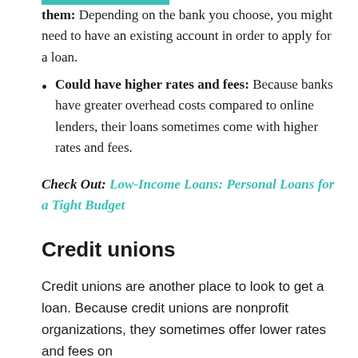them: Depending on the bank you choose, you might need to have an existing account in order to apply for a loan.
Could have higher rates and fees: Because banks have greater overhead costs compared to online lenders, their loans sometimes come with higher rates and fees.
Check Out: Low-Income Loans: Personal Loans for a Tight Budget
Credit unions
Credit unions are another place to look to get a loan. Because credit unions are nonprofit organizations, they sometimes offer lower rates and fees on